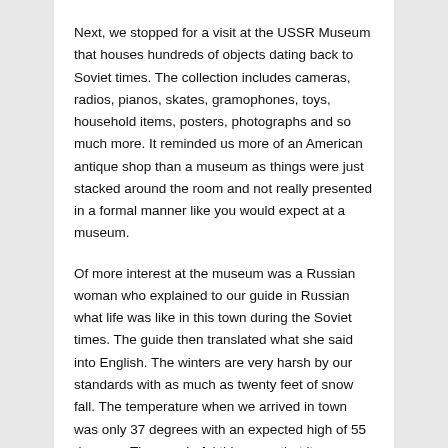Next, we stopped for a visit at the USSR Museum that houses hundreds of objects dating back to Soviet times. The collection includes cameras, radios, pianos, skates, gramophones, toys, household items, posters, photographs and so much more. It reminded us more of an American antique shop than a museum as things were just stacked around the room and not really presented in a formal manner like you would expect at a museum.
Of more interest at the museum was a Russian woman who explained to our guide in Russian what life was like in this town during the Soviet times. The guide then translated what she said into English. The winters are very harsh by our standards with as much as twenty feet of snow fall. The temperature when we arrived in town was only 37 degrees with an expected high of 55 degrees. The wonderful thing was that it was sunny and clear for a change which was greatly appreciated after all of the gray days we have had.
The last stop...